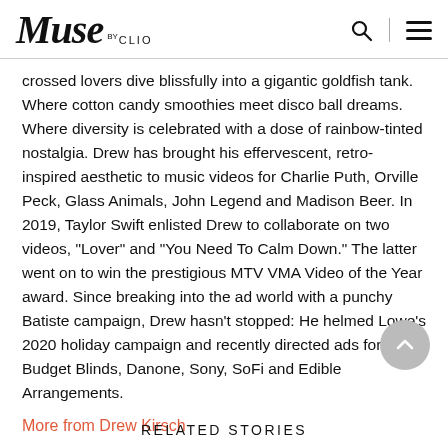Muse by CLIO
crossed lovers dive blissfully into a gigantic goldfish tank. Where cotton candy smoothies meet disco ball dreams. Where diversity is celebrated with a dose of rainbow-tinted nostalgia. Drew has brought his effervescent, retro-inspired aesthetic to music videos for Charlie Puth, Orville Peck, Glass Animals, John Legend and Madison Beer. In 2019, Taylor Swift enlisted Drew to collaborate on two videos, "Lover" and "You Need To Calm Down." The latter went on to win the prestigious MTV VMA Video of the Year award. Since breaking into the ad world with a punchy Batiste campaign, Drew hasn't stopped: He helmed Lowe's 2020 holiday campaign and recently directed ads for Budget Blinds, Danone, Sony, SoFi and Edible Arrangements.
More from Drew Kirsch
RELATED STORIES